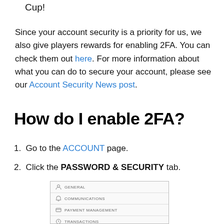Cup!
Since your account security is a priority for us, we also give players rewards for enabling 2FA. You can check them out here. For more information about what you can do to secure your account, please see our Account Security News post.
How do I enable 2FA?
1. Go to the ACCOUNT page.
2. Click the PASSWORD & SECURITY tab.
[Figure (screenshot): Screenshot of account settings menu showing rows: GENERAL, COMMUNICATIONS, PAYMENT MANAGEMENT, TRANSACTIONS]